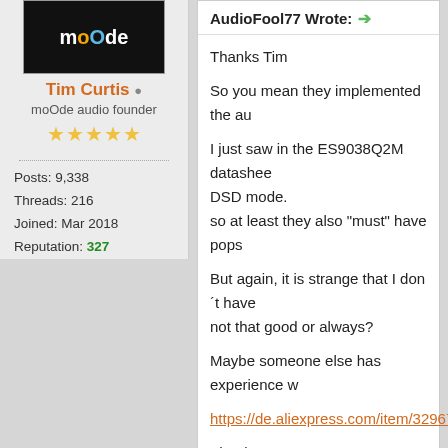[Figure (logo): moOde audio logo — dark circular logo with stylized 'moOde' text in white/orange/blue on black background]
Tim Curtis
moOde audio founder
★★★★★ (5 stars)
Posts: 9,338
Threads: 216
Joined: Mar 2018
Reputation: 327
AudioFool77 Wrote: →
Thanks Tim

So you mean they implemented the au

I just saw in the ES9038Q2M datashee
DSD mode.
so at least they also "must" have pops

But again, it is strange that I don´t have
not that good or always?

Maybe someone else has experience w

https://de.aliexpress.com/item/329673

Thanks
I've never experienced audio glitches wit